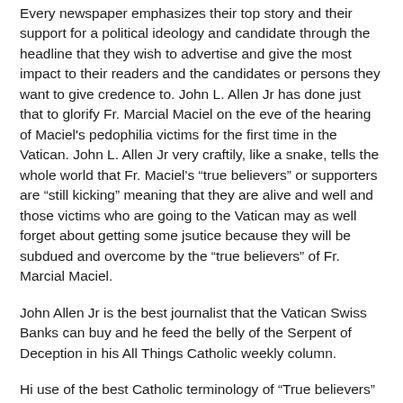Every newspaper emphasizes their top story and their support for a political ideology and candidate through the headline that they wish to advertise and give the most impact to their readers and the candidates or persons they want to give credence to. John L. Allen Jr has done just that to glorify Fr. Marcial Maciel on the eve of the hearing of Maciel's pedophilia victims for the first time in the Vatican. John L. Allen Jr very craftily, like a snake, tells the whole world that Fr. Maciel's “true believers” or supporters are “still kicking” meaning that they are alive and well and those victims who are going to the Vatican may as well forget about getting some jsutice because they will be subdued and overcome by the “true believers” of Fr. Marcial Maciel.
John Allen Jr is the best journalist that the Vatican Swiss Banks can buy and he feed the belly of the Serpent of Deception in his All Things Catholic weekly column.
Hi use of the best Catholic terminology of “True believers” is very crafty even if Fr. Maciel is one of the worst serial pedophile rapist-priest of the John Paul II Pedophile Rapists-Priests Army.